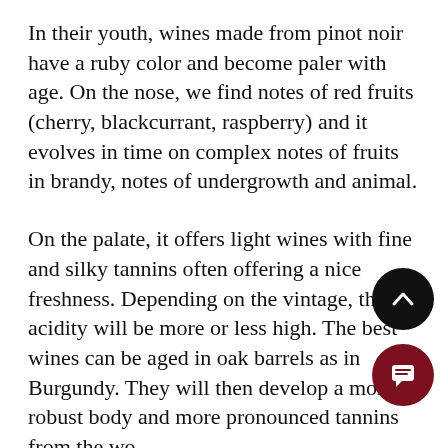In their youth, wines made from pinot noir have a ruby color and become paler with age. On the nose, we find notes of red fruits (cherry, blackcurrant, raspberry) and it evolves in time on complex notes of fruits in brandy, notes of undergrowth and animal.
On the palate, it offers light wines with fine and silky tannins often offering a nice freshness. Depending on the vintage, the acidity will be more or less high. The best wines can be aged in oak barrels as in Burgundy. They will then develop a more robust body and more pronounced tannins from the wo...
[Figure (other): A black circular button with an upward-pointing chevron arrow icon (scroll-to-top button)]
[Figure (other): A dark red/maroon circular button with a chat/message icon]